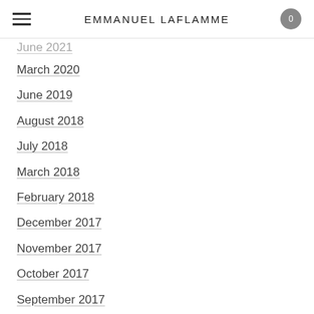EMMANUEL LAFLAMME
June 2021
March 2020
June 2019
August 2018
July 2018
March 2018
February 2018
December 2017
November 2017
October 2017
September 2017
August 2017
July 2017
April 2017
February 2017